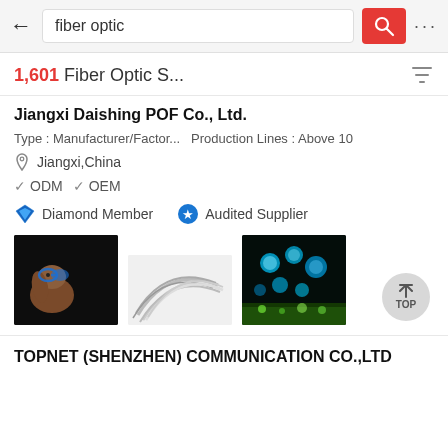fiber optic
1,601 Fiber Optic S...
Jiangxi Daishing POF Co., Ltd.
Type : Manufacturer/Factor...  Production Lines : Above 10
Jiangxi,China
✓ ODM ✓ OEM
Diamond Member   Audited Supplier
[Figure (photo): Three product images: dog with blue glasses on black background, white fiber optic strands, glowing blue bubbles/balls on dark background]
TOPNET (SHENZHEN) COMMUNICATION CO.,LTD